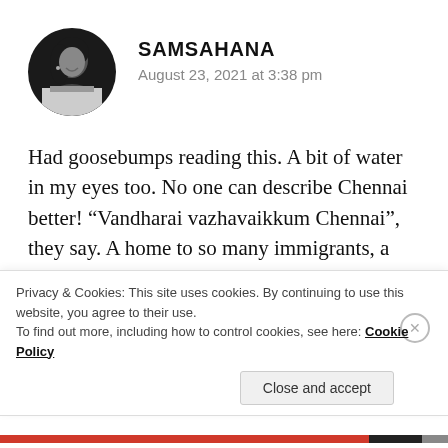[Figure (photo): Circular avatar photo of a young woman (Samsahana), black and white portrait]
SAMSAHANA
August 23, 2021 at 3:38 pm
Had goosebumps reading this. A bit of water in my eyes too. No one can describe Chennai better! “Vandharai vazhavaikkum Chennai”, they say. A home to so many immigrants, a safe haven for unemployed people to fled to, what not! You celebrated Chennai with your beautiful words more than any festival can! THAT, is Chennai. Unity-
Privacy & Cookies: This site uses cookies. By continuing to use this website, you agree to their use.
To find out more, including how to control cookies, see here: Cookie Policy
Close and accept